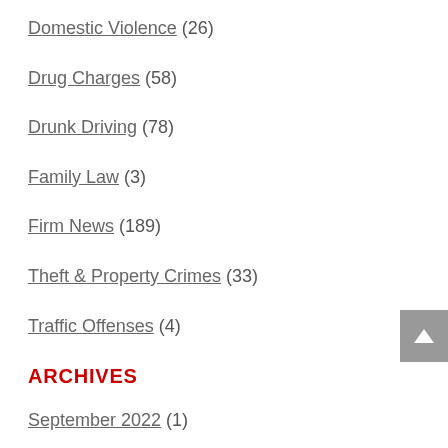Domestic Violence (26)
Drug Charges (58)
Drunk Driving (78)
Family Law (3)
Firm News (189)
Theft & Property Crimes (33)
Traffic Offenses (4)
ARCHIVES
September 2022 (1)
August 2022 (2)